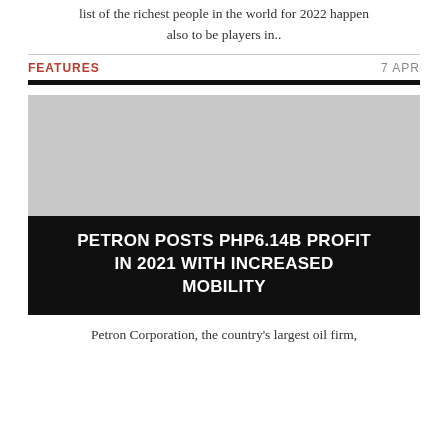list of the richest people in the world for 2022 happen also to be players in..
FEATURES
7 APR
[Figure (photo): A placeholder image (gray rectangle) representing a photo related to the Petron article]
PETRON POSTS PHP6.14B PROFIT IN 2021 WITH INCREASED MOBILITY
Petron Corporation, the country's largest oil firm,